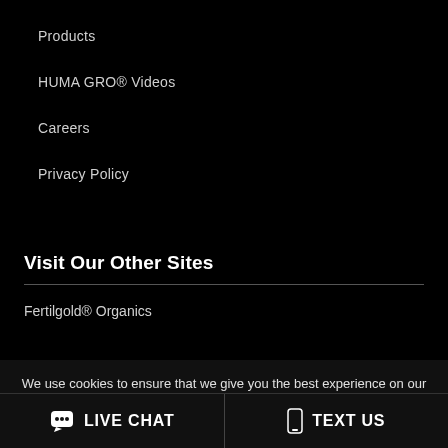Products
HUMA GRO® Videos
Careers
Privacy Policy
Visit Our Other Sites
Fertilgold® Organics
We use cookies to ensure that we give you the best experience on our website. If you continue to use this site we will assume that you are happy with it.
LIVE CHAT
TEXT US